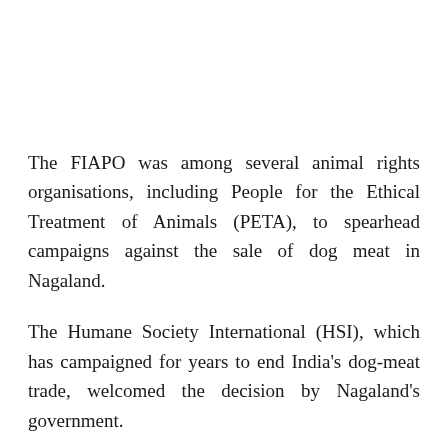The FIAPO was among several animal rights organisations, including People for the Ethical Treatment of Animals (PETA), to spearhead campaigns against the sale of dog meat in Nagaland.
The Humane Society International (HSI), which has campaigned for years to end India's dog-meat trade, welcomed the decision by Nagaland's government.
"The suffering of dogs in Nagaland has long cast a dark shadow over India, and so this news marks a